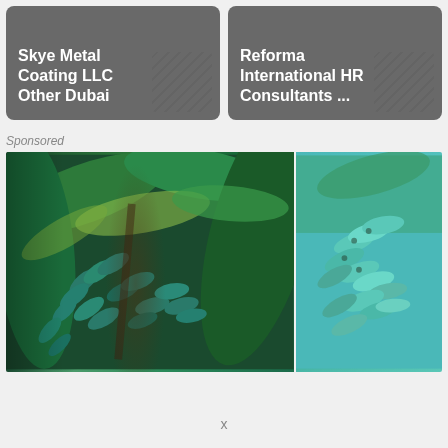[Figure (screenshot): Card with text: Skye Metal Coating LLC Other Dubai, dark grey rounded rectangle background with diagonal pattern]
[Figure (screenshot): Card with text: Reforma International HR Consultants ..., dark grey rounded rectangle background with diagonal pattern]
Sponsored
[Figure (photo): Two side-by-side photos of banana bunches on trees. Left photo shows dark green bananas with large tropical leaves. Right photo shows lighter teal/blue-green bananas.]
x